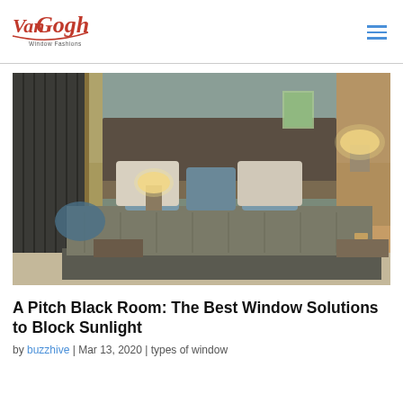Van Gogh Window Fashions
[Figure (photo): Hotel bedroom with a large made bed, teal/blue decorative pillows, warm ambient lighting from bedside lamps, and dark curtains on windows in the background.]
A Pitch Black Room: The Best Window Solutions to Block Sunlight
by buzzhive | Mar 13, 2020 | types of window